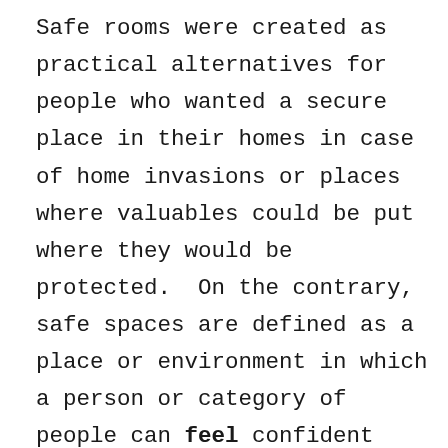Safe rooms were created as practical alternatives for people who wanted a secure place in their homes in case of home invasions or places where valuables could be put where they would be protected.  On the contrary, safe spaces are defined as a place or environment in which a person or category of people can feel confident that they will not be exposed to discrimination, criticism, harassment, or any other emotional or physical harm. Sadly, in this era of identity politics and the philosophy of being woke, safe spaces are actually places where people can go when they are unable to debate or argue a position that they support and they are the places for those who see themselves as perennial victims because their arguments lack